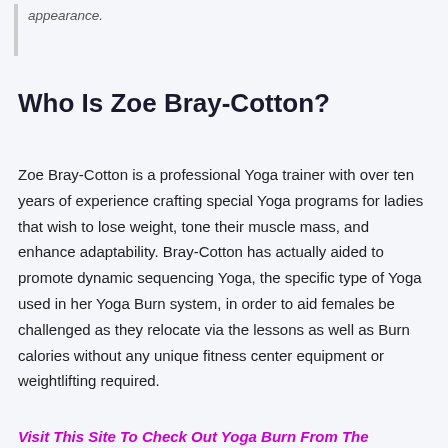appearance.
Who Is Zoe Bray-Cotton?
Zoe Bray-Cotton is a professional Yoga trainer with over ten years of experience crafting special Yoga programs for ladies that wish to lose weight, tone their muscle mass, and enhance adaptability. Bray-Cotton has actually aided to promote dynamic sequencing Yoga, the specific type of Yoga used in her Yoga Burn system, in order to aid females be challenged as they relocate via the lessons as well as Burn calories without any unique fitness center equipment or weightlifting required.
Visit This Site To Check Out Yoga Burn From The